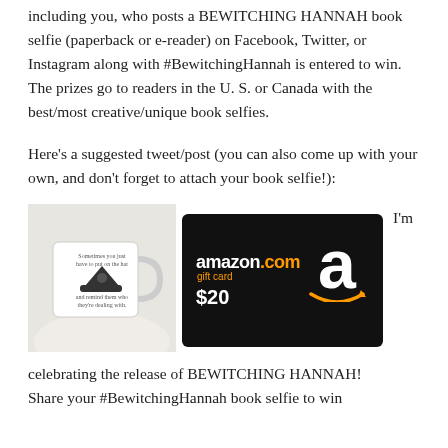including you, who posts a BEWITCHING HANNAH book selfie (paperback or e-reader) on Facebook, Twitter, or Instagram along with #BewitchingHannah is entered to win. The prizes go to readers in the U. S. or Canada with the best/most creative/unique book selfies.
Here’s a suggested tweet/post (you can also come up with your own, and don’t forget to attach your book selfie!):
[Figure (photo): A collage showing a white mug with a witch hat illustration and text, and a black Amazon.com $20 gift card.]
I’m
celebrating the release of BEWITCHING HANNAH! Share your #BewitchingHannah book selfie to win
Shar... #BewitchingHannah book selfie to win